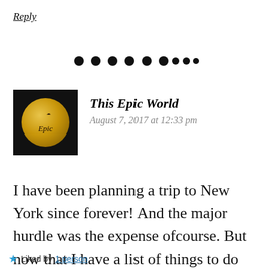Reply
[Figure (other): Row of decorative dots/bullets as a section separator]
[Figure (other): Avatar image: black square with gold circular logo for 'This Epic World' blog]
This Epic World
August 7, 2017 at 12:33 pm
I have been planning a trip to New York since forever! And the major hurdle was the expense ofcourse. But now that I have a list of things to do
Privacy & Cookies: This site uses cookies. By continuing to use this website, you agree to their use.
To find out more, including how to control cookies, see here: Cookie Policy
Close and accept
Liked by 1 person